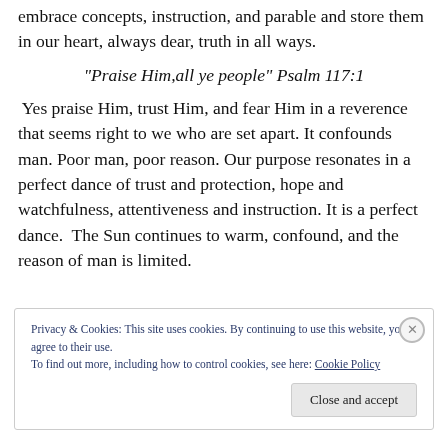embrace concepts, instruction,  and parable and store them in our heart, always dear, truth in all ways.
“Praise Him,all ye people” Psalm 117:1
Yes praise Him, trust Him, and fear Him in a reverence that seems right to we who are set apart. It confounds man. Poor man, poor reason. Our purpose resonates in a perfect dance of trust and protection, hope and watchfulness, attentiveness and instruction. It is a perfect dance.  The Sun continues to warm, confound, and the reason of man is limited.
Privacy & Cookies: This site uses cookies. By continuing to use this website, you agree to their use.
To find out more, including how to control cookies, see here: Cookie Policy
Close and accept